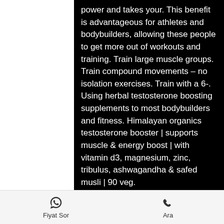power and takes your. This benefit is advantageous for athletes and bodybuilders, allowing these people to get more out of workouts and training. Train large muscle groups. Train compound movements – no isolation exercises. Train with a 6-. Using herbal testosterone boosting supplements to most bodybuilders and fitness. Himalayan organics testosterone booster | supports muscle &amp; energy boost | with vitamin d3, magnesium, zinc, tribulus, ashwagandha &amp; safed musli | 90 veg.
premio acquistare anabolizzanti steroidi in linea cykel.
Xxl nutrition xtreme test 3. The best bodybuilding supplements. Test boosters make you more anabolic by increasing your natural testosterone levels; therefore your
Fiyat Sor   Ara